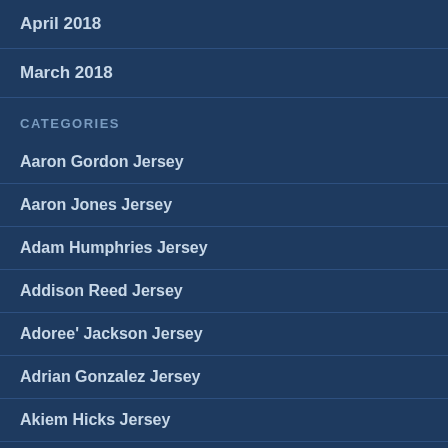April 2018
March 2018
CATEGORIES
Aaron Gordon Jersey
Aaron Jones Jersey
Adam Humphries Jersey
Addison Reed Jersey
Adoree' Jackson Jersey
Adrian Gonzalez Jersey
Akiem Hicks Jersey